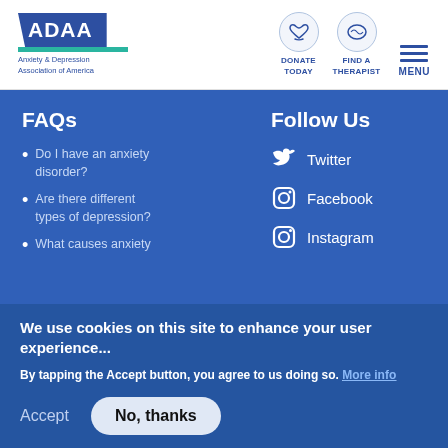[Figure (logo): ADAA logo with blue box and teal stripe, Anxiety & Depression Association of America text below]
[Figure (infographic): Navigation icons: Donate Today (hands icon), Find A Therapist (map icon), Menu (hamburger icon)]
FAQs
Do I have an anxiety disorder?
Are there different types of depression?
What causes anxiety
Follow Us
Twitter
Facebook
Instagram
We use cookies on this site to enhance your user experience...
By tapping the Accept button, you agree to us doing so. More info
Accept
No, thanks